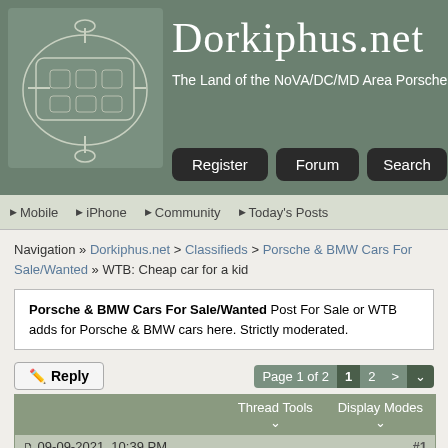Dorkiphus.net — The Land of the NoVA/DC/MD Area Porsche
Register | Forum | Search
Mobile | iPhone | Community | Today's Posts
Navigation » Dorkiphus.net > Classifieds > Porsche & BMW Cars For Sale/Wanted » WTB: Cheap car for a kid
Porsche & BMW Cars For Sale/Wanted Post For Sale or WTB adds for Porsche & BMW cars here. Strictly moderated.
Reply | Page 1 of 2  1  2  >
|  | Thread Tools | Display Modes |
| --- | --- | --- |
| 09-09-2021, 10:39 PM |  | #1 |
| [avatar] Patrick3000 • I need another Porsche Sponsor [shields] | Join Date: Mar 2005 Location: Bethesda Posts: 2,780 |  |